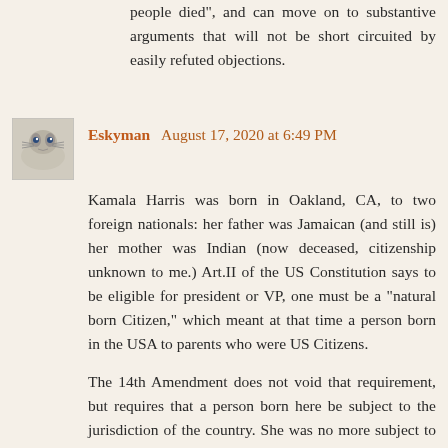people died", and can move on to substantive arguments that will not be short circuited by easily refuted objections.
Eskyman August 17, 2020 at 6:49 PM
Kamala Harris was born in Oakland, CA, to two foreign nationals: her father was Jamaican (and still is) her mother was Indian (now deceased, citizenship unknown to me.) Art.II of the US Constitution says to be eligible for president or VP, one must be a "natural born Citizen," which meant at that time a person born in the USA to parents who were US Citizens.
The 14th Amendment does not void that requirement, but requires that a person born here be subject to the jurisdiction of the country. She was no more subject to the whole jurisdiction than any tourist, so her very citizenship is questionable.
Here's a short article describing some of the problems with her candidacy: